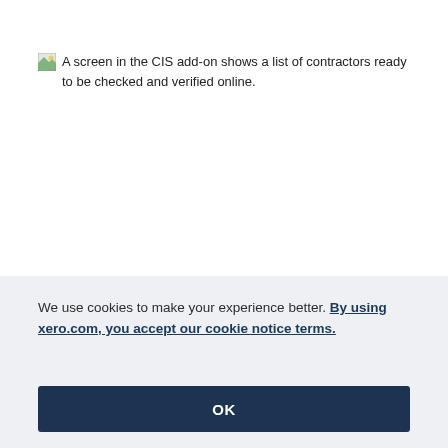A screen in the CIS add-on shows a list of contractors ready to be checked and verified online.
We use cookies to make your experience better. By using xero.com, you accept our cookie notice terms.